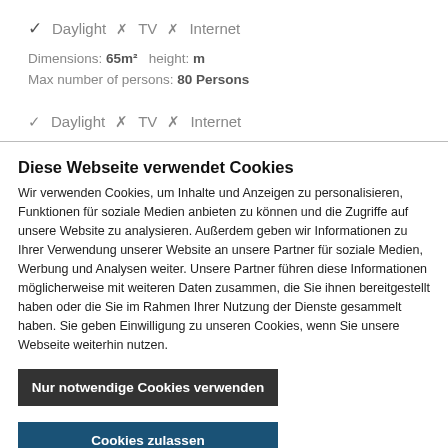✓ Daylight ✗ TV ✗ Internet
Dimensions: 65m² height: m
Max number of persons: 80 Persons
✓ Daylight ✗ TV ✗ Internet
Diese Webseite verwendet Cookies
Wir verwenden Cookies, um Inhalte und Anzeigen zu personalisieren, Funktionen für soziale Medien anbieten zu können und die Zugriffe auf unsere Website zu analysieren. Außerdem geben wir Informationen zu Ihrer Verwendung unserer Website an unsere Partner für soziale Medien, Werbung und Analysen weiter. Unsere Partner führen diese Informationen möglicherweise mit weiteren Daten zusammen, die Sie ihnen bereitgestellt haben oder die Sie im Rahmen Ihrer Nutzung der Dienste gesammelt haben. Sie geben Einwilligung zu unseren Cookies, wenn Sie unsere Webseite weiterhin nutzen.
Nur notwendige Cookies verwenden
Cookies zulassen
Details zeigen ∨